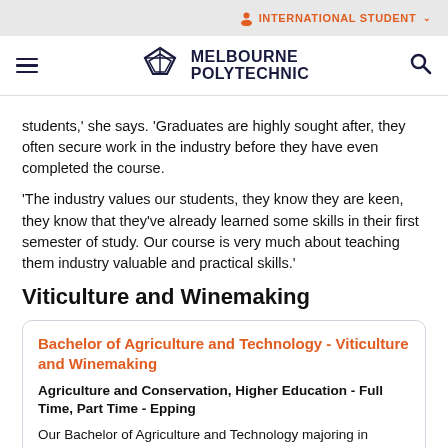INTERNATIONAL STUDENT
[Figure (logo): Melbourne Polytechnic logo with geometric diamond/triangle emblem and text 'MELBOURNE POLYTECHNIC']
students,' she says. 'Graduates are highly sought after, they often secure work in the industry before they have even completed the course.
'The industry values our students, they know they are keen, they know that they've already learned some skills in their first semester of study. Our course is very much about teaching them industry valuable and practical skills.'
Viticulture and Winemaking
Bachelor of Agriculture and Technology - Viticulture and Winemaking
Agriculture and Conservation, Higher Education - Full Time, Part Time - Epping
Our Bachelor of Agriculture and Technology majoring in Viticulture and Winemaking will give you a leading edge in the competitive Australian wine industry.